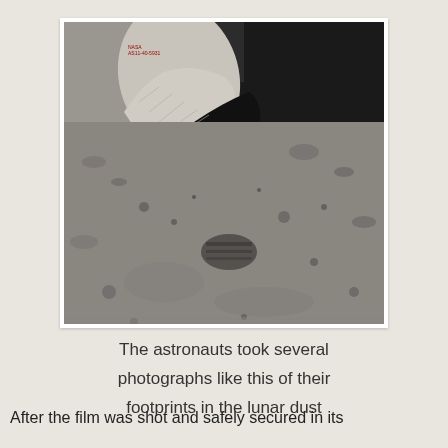[Figure (photo): Black and white NASA photograph showing an astronaut's boot/foot in a spacesuit at the top, with lunar surface dust and a footprint visible below. Small NASA label text in upper left corner of photo.]
The astronauts took several photographs like this of their footprints in the lunar dust
After the film was shot and safely secured in its